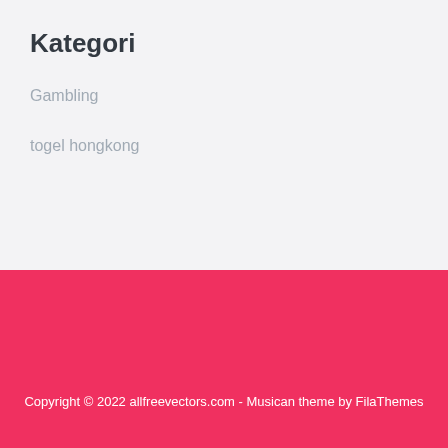Kategori
Gambling
togel hongkong
Copyright © 2022 allfreevectors.com - Musican theme by FilaThemes